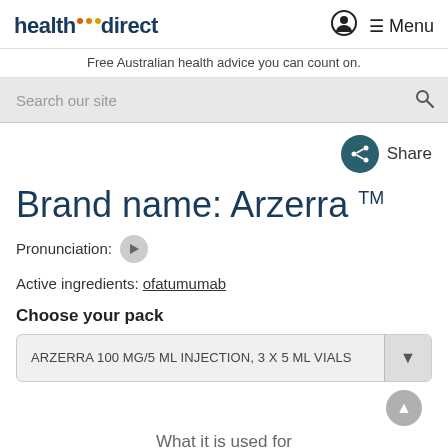healthdirect — Free Australian health advice you can count on.
Search our site
Share
Brand name: Arzerra ™
Pronunciation:
Active ingredients: ofatumumab
Choose your pack
ARZERRA 100 MG/5 ML INJECTION, 3 X 5 ML VIALS
What it is used for